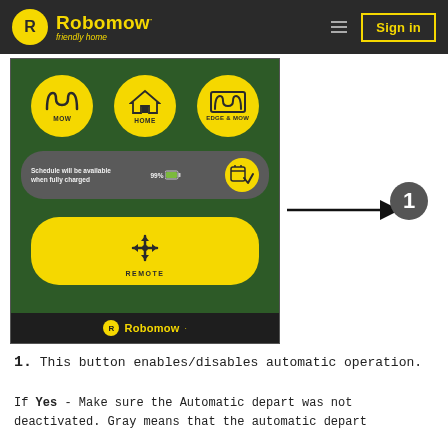[Figure (screenshot): Robomow app interface showing three action buttons (MOW, HOME, EDGE & MOW), a status pill reading 'Schedule will be available when fully charged' with 99% battery indicator and a schedule/checkmark button, a yellow REMOTE button, and the Robomow logo at the bottom. A black arrow points to the schedule button, labeled with callout number 1.]
1. This button enables/disables automatic operation.
If Yes - Make sure the Automatic depart was not deactivated. Gray means that the automatic depart